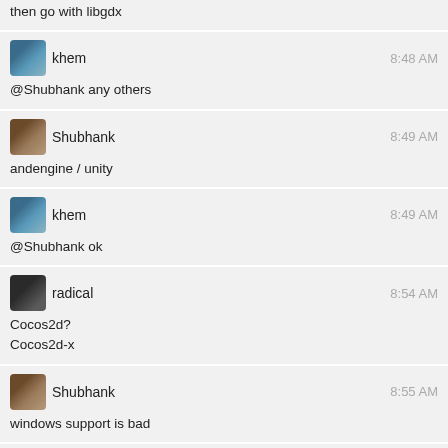then go with libgdx
khem  8:48 AM
@Shubhank any others
Shubhank  8:49 AM
andengine / unity
khem  8:49 AM
@Shubhank ok
radical  8:54 AM
Cocos2d?
Cocos2d-x
Shubhank  8:55 AM
windows support is bad
123  8:56 AM
HTML5 for all :P
Shubhank  8:58 AM
iOS development is fun :D
other languages.. not supported in this.. slow in that blah blah
radical  8:59 AM
Re:windows, okk